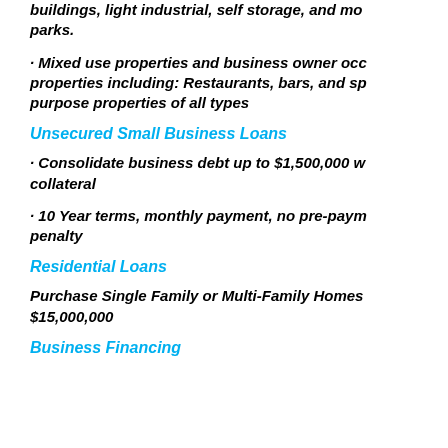buildings, light industrial, self storage, and mobile home parks.
· Mixed use properties and business owner occupied properties including: Restaurants, bars, and special purpose properties of all types
Unsecured Small Business Loans
· Consolidate business debt up to $1,500,000 without collateral
· 10 Year terms, monthly payment, no pre-payment penalty
Residential Loans
Purchase Single Family or Multi-Family Homes up to $15,000,000
Business Financing